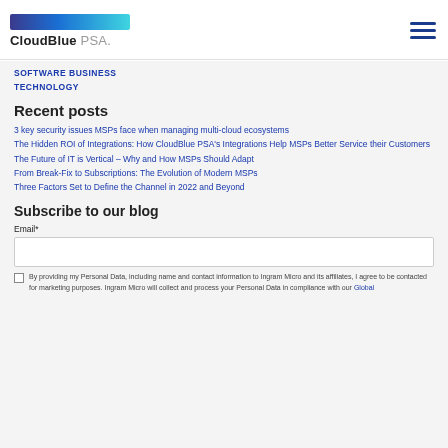CloudBlue PSA
SOFTWARE BUSINESS
TECHNOLOGY
Recent posts
3 key security issues MSPs face when managing multi-cloud ecosystems
The Hidden ROI of Integrations: How CloudBlue PSA's Integrations Help MSPs Better Service their Customers
The Future of IT is Vertical – Why and How MSPs Should Adapt
From Break-Fix to Subscriptions: The Evolution of Modern MSPs
Three Factors Set to Define the Channel in 2022 and Beyond
Subscribe to our blog
Email*
By providing my Personal Data, including name and contact information to Ingram Micro and its affiliates, I agree to be contacted for marketing purposes. Ingram Micro will collect and process your Personal Data in compliance with our Global